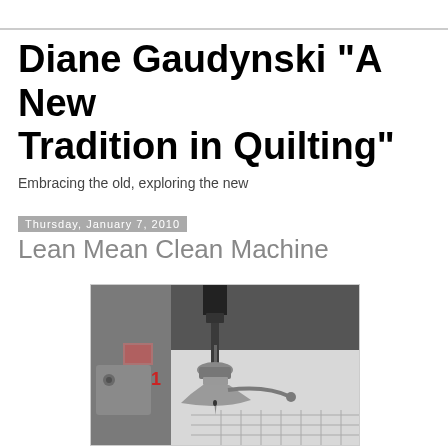Diane Gaudynski "A New Tradition in Quilting"
Embracing the old, exploring the new
Thursday, January 7, 2010
Lean Mean Clean Machine
[Figure (photo): Close-up photograph of a sewing machine needle and presser foot area, showing the needle, foot mechanism, and number 1 marking on the machine, in black and white/grayscale tones]